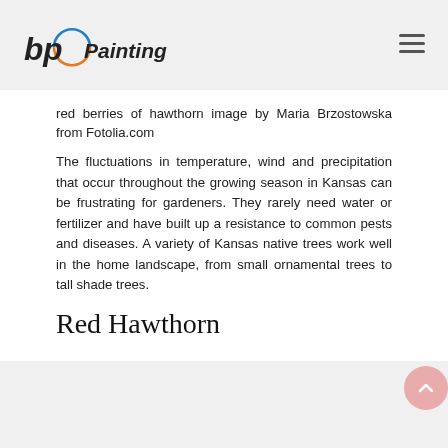bp Painting
red berries of hawthorn image by Maria Brzostowska from Fotolia.com
The fluctuations in temperature, wind and precipitation that occur throughout the growing season in Kansas can be frustrating for gardeners. They rarely need water or fertilizer and have built up a resistance to common pests and diseases. A variety of Kansas native trees work well in the home landscape, from small ornamental trees to tall shade trees.
Red Hawthorn